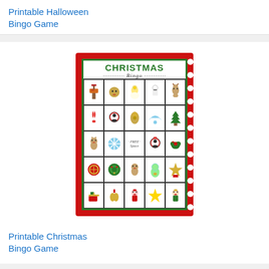Printable Halloween Bingo Game
[Figure (illustration): Christmas Bingo game card with red polka dot border and green inner border. Title reads CHRISTMAS Bingo. Contains a 5x5 grid of Christmas-themed clipart images including a mailbox, owl, angel, snowman, reindeer, candy cane, penguin, bells, dove, Christmas tree, gingerbread man, snowflake, FREE space, penguin, holly, ornament, wreath, gingerbread man, ornament, stocking, gift, bells, Santa, star, elf.]
Printable Christmas Bingo Game